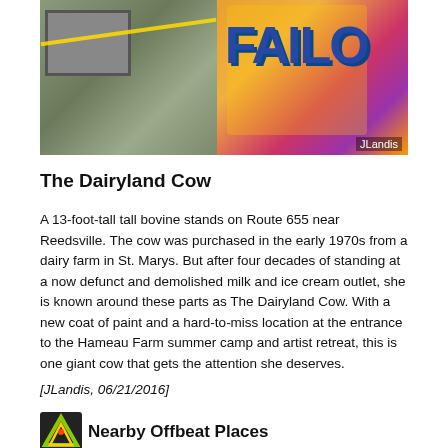[Figure (photo): Composite photo: left side shows farm equipment/fence in a field; right side shows a colorful painted sign with 'FAILO' or similar letters in blue on a bright orange/pink/purple background. Photo credit: JLandis.]
The Dairyland Cow
A 13-foot-tall tall bovine stands on Route 655 near Reedsville. The cow was purchased in the early 1970s from a dairy farm in St. Marys. But after four decades of standing at a now defunct and demolished milk and ice cream outlet, she is known around these parts as The Dairyland Cow. With a new coat of paint and a hard-to-miss location at the entrance to the Hameau Farm summer camp and artist retreat, this is one giant cow that gets the attention she deserves.
[JLandis, 06/21/2016]
Nearby Offbeat Places